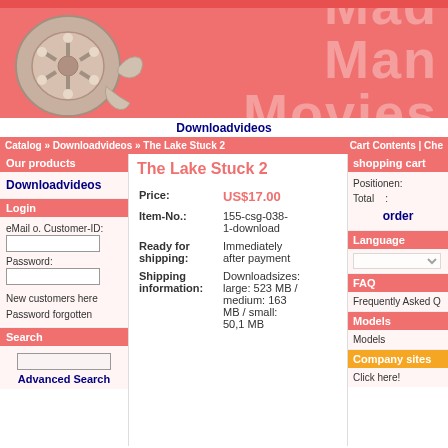[Figure (screenshot): Mad Man Movies website header banner with film reel graphic and watermark text]
Downloadvideos
Catalog » Downloadvideos » The Lake Stuck 2
Cart Contents | Che...
Our products
Downloadvideos
Login
eMail o. Customer-ID:
Password:
New customers here
Password forgotten
Search
Advanced Search
The Lake Stuck 2
| Field | Value |
| --- | --- |
| Price: | US$17.00 |
| Item-No.: | 155-csg-038-1-download |
| Ready for shipping: | Immediately after payment |
| Shipping information: | Downloadsizes: large: 523 MB / medium: 163 MB / small: 50,1 MB |
shopping cart
Positionen:
Total :
order
Language
FAQ
Frequently Asked Q...
Models
Models
Company sites
Click here!